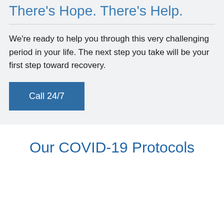There's Hope. There's Help.
We're ready to help you through this very challenging period in your life. The next step you take will be your first step toward recovery.
Call 24/7
Our COVID-19 Protocols